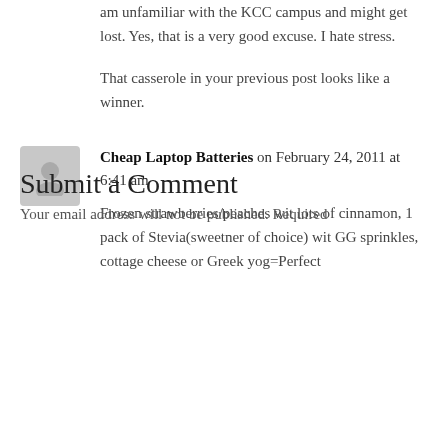am unfamiliar with the KCC campus and might get lost. Yes, that is a very good excuse. I hate stress.
That casserole in your previous post looks like a winner.
Cheap Laptop Batteries on February 24, 2011 at 6:41 am
Frozen strawberries/peaches wit lots of cinnamon, 1 pack of Stevia(sweetner of choice) wit GG sprinkles, cottage cheese or Greek yog=Perfect
Submit a Comment
Your email address will not be published. Required